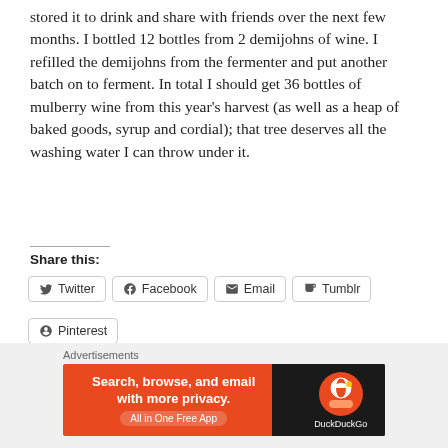stored it to drink and share with friends over the next few months. I bottled 12 bottles from 2 demijohns of wine. I refilled the demijohns from the fermenter and put another batch on to ferment. In total I should get 36 bottles of mulberry wine from this year's harvest (as well as a heap of baked goods, syrup and cordial); that tree deserves all the washing water I can throw under it.
Share this:
[Figure (screenshot): Social share buttons: Twitter, Facebook, Email, Tumblr, Pinterest]
Advertisements
[Figure (screenshot): DuckDuckGo advertisement banner: Search, browse, and email with more privacy. All in One Free App.]